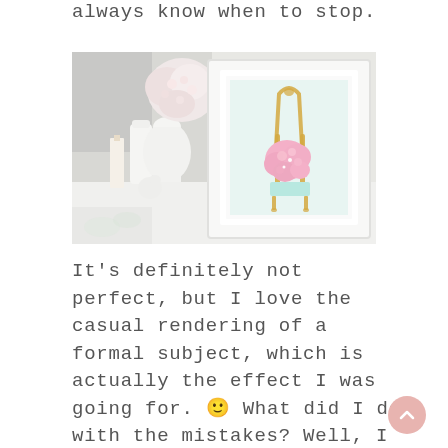always know when to stop.
[Figure (photo): A framed watercolor painting of a French-style chair with pink flowers sits on a white dresser next to white vases and decorative objects. The painting shows a gold ornate chair with a mint-colored seat and pink floral arrangement.]
It's definitely not perfect, but I love the casual rendering of a formal subject, which is actually the effect I was going for. 🙂 What did I do with the mistakes? Well, I